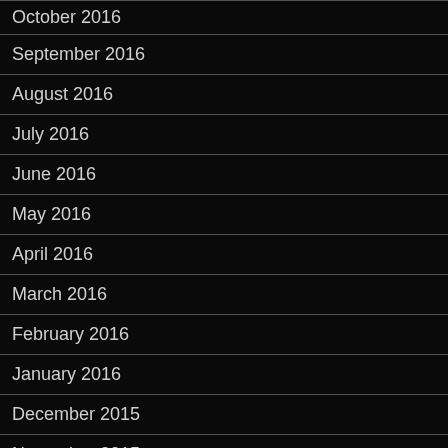October 2016
September 2016
August 2016
July 2016
June 2016
May 2016
April 2016
March 2016
February 2016
January 2016
December 2015
November 2015
October 2015